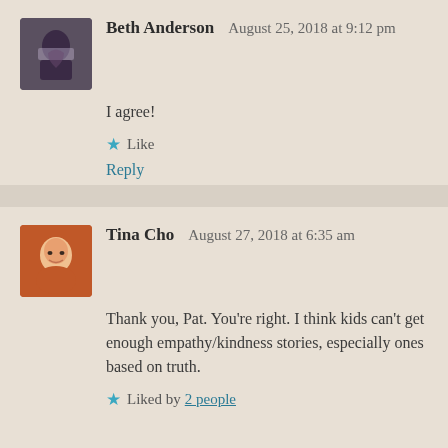Beth Anderson — August 25, 2018 at 9:12 pm
I agree!
★ Like
Reply
Tina Cho — August 27, 2018 at 6:35 am
Thank you, Pat. You're right. I think kids can't get enough empathy/kindness stories, especially ones based on truth.
★ Liked by 2 people